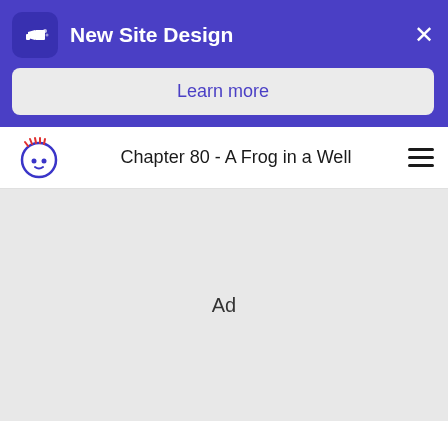New Site Design
Learn more
Chapter 80 - A Frog in a Well
[Figure (other): Ad placeholder area with light gray background and text 'Ad']
Ad